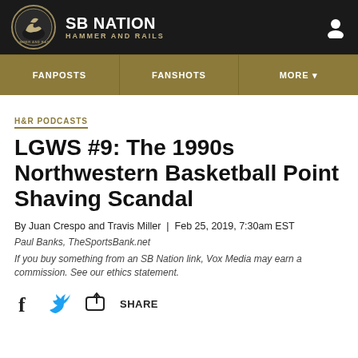SB NATION | HAMMER AND RAILS
H&R PODCASTS
LGWS #9: The 1990s Northwestern Basketball Point Shaving Scandal
By Juan Crespo and Travis Miller | Feb 25, 2019, 7:30am EST
Paul Banks, TheSportsBank.net
If you buy something from an SB Nation link, Vox Media may earn a commission. See our ethics statement.